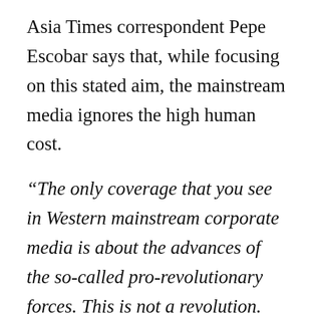Asia Times correspondent Pepe Escobar says that, while focusing on this stated aim, the mainstream media ignores the high human cost.
“The only coverage that you see in Western mainstream corporate media is about the advances of the so-called pro-revolutionary forces. This is not a revolution. This is a civil war, which was adopted by the NATO powers and the US,” he told RT.